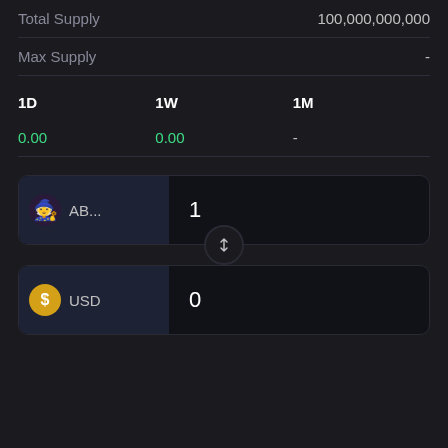|  |  |
| --- | --- |
| Total Supply | 100,000,000,000 |
| Max Supply | - |
| 1D | 1W | 1M |
| --- | --- | --- |
| 0.00 | 0.00 | - |
[Figure (infographic): Currency swap widget with AB... token (1) and USD (0) exchange fields with toggle arrow button]
AB... 1
USD 0